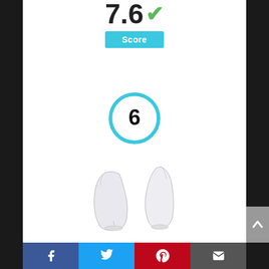[Figure (other): Score display showing '7.6' with green checkmark and a cyan 'Score' badge below]
[Figure (other): Rank circle with number 6 inside, styled with cyan border]
[Figure (photo): Product photo of aegend UV Protection Cooling Arm Sleeves - two white arm sleeves]
aegend UV Protection Cooling Arm Sleeves
[Figure (other): Social sharing bar with Facebook, Twitter, Pinterest, and Email buttons]